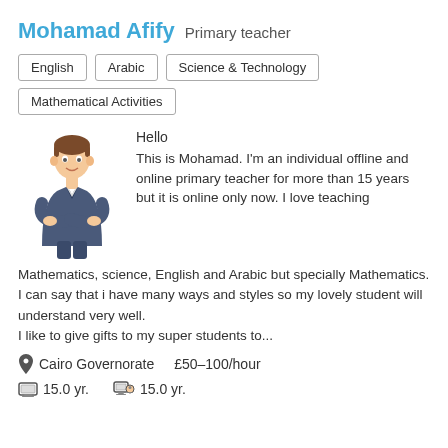Mohamad Afify  Primary teacher
English
Arabic
Science & Technology
Mathematical Activities
[Figure (illustration): Cartoon illustration of a young man with crossed arms, wearing a dark jacket]
Hello
This is Mohamad. I'm an individual offline and online primary teacher for more than 15 years but it is online only now. I love teaching Mathematics, science, English and Arabic but specially Mathematics.
I can say that i have many ways and styles so my lovely student will understand very well.
I like to give gifts to my super students to...
Cairo Governorate   £50–100/hour
15.0 yr.   15.0 yr.